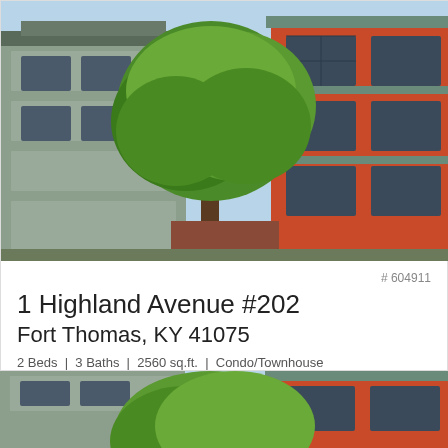[Figure (photo): Exterior photo of a multi-story condo/townhouse building with grey and orange brick facade and large windows. A large green tree is prominent in the center foreground.]
# 604911
1 Highland Avenue #202
Fort Thomas, KY 41075
2 Beds | 3 Baths | 2560 sq.ft. | Condo/Townhouse
♡ $1,225,000 ● Active
[Figure (photo): Partial exterior photo of the same condo/townhouse building, cropped at bottom of page.]